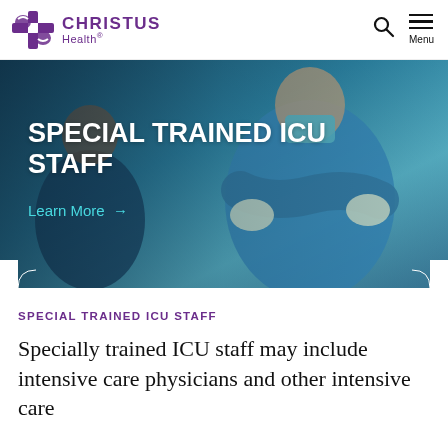CHRISTUS Health
[Figure (photo): Medical staff in blue surgical gowns and gloves with arms crossed, hero image with overlay text 'SPECIAL TRAINED ICU STAFF' and 'Learn More →']
SPECIAL TRAINED ICU STAFF
Specially trained ICU staff may include intensive care physicians and other intensive care